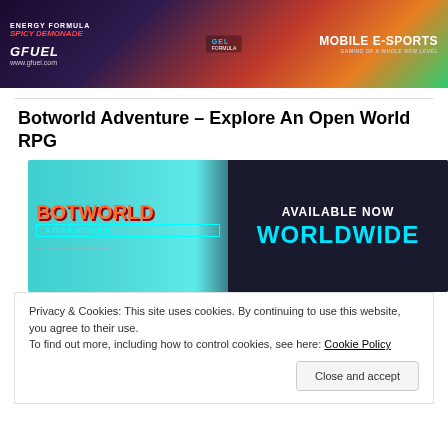[Figure (photo): GFUEL energy formula advertisement banner with products, lemon/citrus imagery, 'SPICY DEMONADE' text, GFUEL logo, website www.gfuel.com, and 'MOBILE E-SPORTS GAMING OF A WHOLE NEW LEVEL' text on right side]
Botworld Adventure – Explore An Open World RPG
[Figure (photo): Botworld Adventure game promotional banner showing colorful cartoon robots and game characters on left side with teal/blue background and 'BOTWORLD ADVENTURE' logo, and black panel on right with 'AVAILABLE NOW WORLDWIDE' text in white and cyan]
Privacy & Cookies: This site uses cookies. By continuing to use this website, you agree to their use.
To find out more, including how to control cookies, see here: Cookie Policy
Close and accept